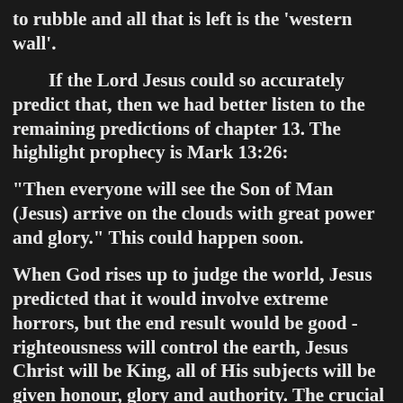to rubble and all that is left is the 'western wall'.
If the Lord Jesus could so accurately predict that, then we had better listen to the remaining predictions of chapter 13. The highlight prophecy is Mark 13:26:
"Then everyone will see the Son of Man (Jesus) arrive on the clouds with great power and glory." This could happen soon.
When God rises up to judge the world, Jesus predicted that it would involve extreme horrors, but the end result would be good - righteousness will control the earth, Jesus Christ will be King, all of His subjects will be given honour, glory and authority. The crucial